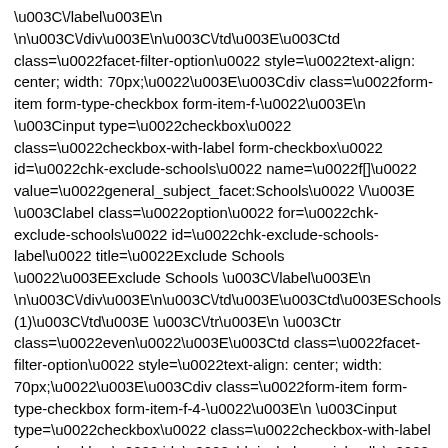\u003C\/label\u003E\n \n\u003C\/div\u003E\n\u003C\/td\u003E\u003Ctd class=\u0022facet-filter-option\u0022 style=\u0022text-align: center; width: 70px;\u0022\u003E\u003Cdiv class=\u0022form-item form-type-checkbox form-item-f-\u0022\u003E\n \u003Cinput type=\u0022checkbox\u0022 class=\u0022checkbox-with-label form-checkbox\u0022 id=\u0022chk-exclude-schools\u0022 name=\u0022f[]\u0022 value=\u0022general_subject_facet:Schools\u0022 \/\u003E \u003Clabel class=\u0022option\u0022 for=\u0022chk-exclude-schools\u0022 id=\u0022chk-exclude-schools-label\u0022 title=\u0022Exclude Schools \u0022\u003EExclude Schools \u003C\/label\u003E\n \n\u003C\/div\u003E\n\u003C\/td\u003E\u003Ctd\u003ESchools (1)\u003C\/td\u003E \u003C\/tr\u003E\n \u003Ctr class=\u0022even\u0022\u003E\u003Ctd class=\u0022facet-filter-option\u0022 style=\u0022text-align: center; width: 70px;\u0022\u003E\u003Cdiv class=\u0022form-item form-type-checkbox form-item-f-4-\u0022\u003E\n \u003Cinput type=\u0022checkbox\u0022 class=\u0022checkbox-with-label form-checkbox\u0022 id=\u0022chk-include-social-calls\u0022 name=\u0022f[4][]\u0022 value=\u0022general_subject_facet:Social calls\u0022 \/\u003E \u003Clabel class=\u0022option\u0022 for=\u0022chk-include-social-calls\u0022 id=\u0022chk-include-social-calls-label\u0022 title=\u0022Include Social calls \u0022\u003EInclude Social calls